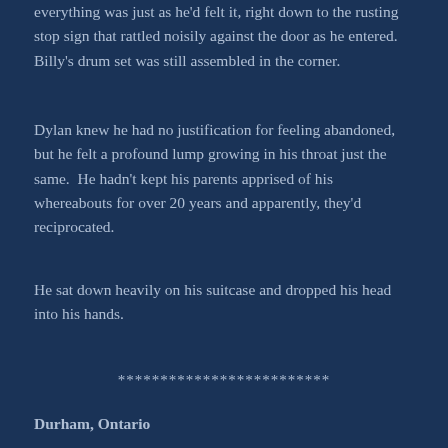everything was just as he'd felt it, right down to the rusting stop sign that rattled noisily against the door as he entered.  Billy's drum set was still assembled in the corner.
Dylan knew he had no justification for feeling abandoned, but he felt a profound lump growing in his throat just the same.  He hadn't kept his parents apprised of his whereabouts for over 20 years and apparently, they'd reciprocated.
He sat down heavily on his suitcase and dropped his head into his hands.
*************************
Durham, Ontario